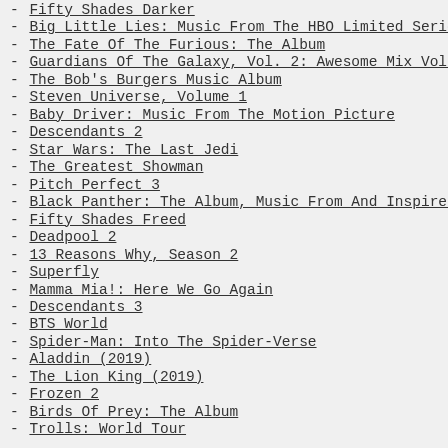- Fifty Shades Darker
- Big Little Lies: Music From The HBO Limited Series
- The Fate Of The Furious: The Album
- Guardians Of The Galaxy, Vol. 2: Awesome Mix Vol. 2
- The Bob's Burgers Music Album
- Steven Universe, Volume 1
- Baby Driver: Music From The Motion Picture
- Descendants 2
- Star Wars: The Last Jedi
- The Greatest Showman
- Pitch Perfect 3
- Black Panther: The Album, Music From And Inspired By
- Fifty Shades Freed
- Deadpool 2
- 13 Reasons Why, Season 2
- Superfly
- Mamma Mia!: Here We Go Again
- Descendants 3
- BTS World
- Spider-Man: Into The Spider-Verse
- Aladdin (2019)
- The Lion King (2019)
- Frozen 2
- Birds Of Prey: The Album
- Trolls: World Tour